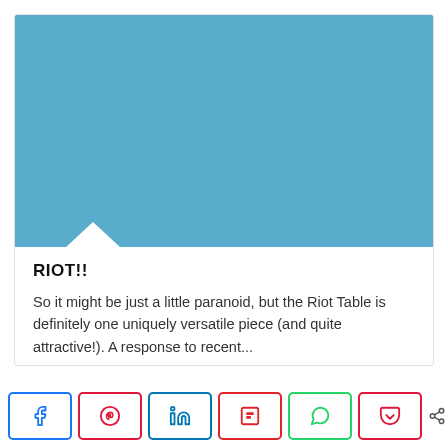[Figure (illustration): Blue teal rectangle image area with a white downward chevron/arrow at the bottom left indicating a speech bubble or pointer element]
RIOT!!
So it might be just a little paranoid, but the Riot Table is definitely one uniquely versatile piece (and quite attractive!). A response to recent...